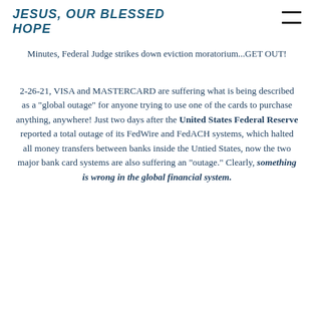JESUS, OUR BLESSED HOPE
Minutes, Federal Judge strikes down eviction moratorium...GET OUT!
2-26-21, VISA and MASTERCARD are suffering what is being described as a "global outage" for anyone trying to use one of the cards to purchase anything, anywhere! Just two days after the United States Federal Reserve reported a total outage of its FedWire and FedACH systems, which halted all money transfers between banks inside the Untied States, now the two major bank card systems are also suffering an "outage." Clearly, something is wrong in the global financial system.